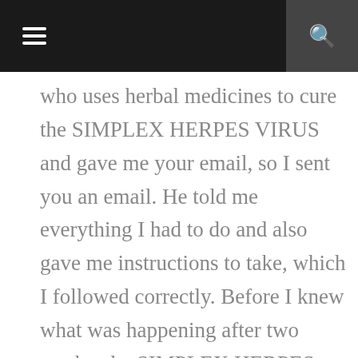who uses herbal medicines to cure the SIMPLEX HERPES VIRUS and gave me your email, so I sent you an email. He told me everything I had to do and also gave me instructions to take, which I followed correctly. Before I knew what was happening after two weeks, the SIMPLEX HERPES VIRUS that was in my body disappeared. therefore, if you also have a broken heart and need help, you can also send an email to